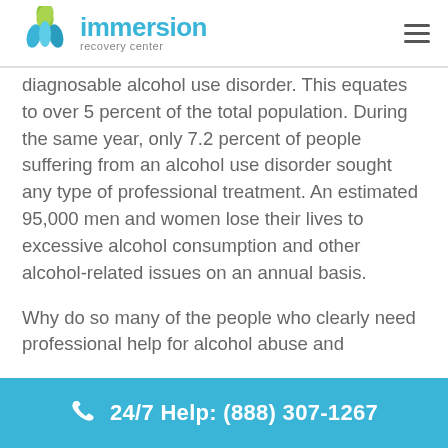immersion recovery center
diagnosable alcohol use disorder. This equates to over 5 percent of the total population. During the same year, only 7.2 percent of people suffering from an alcohol use disorder sought any type of professional treatment. An estimated 95,000 men and women lose their lives to excessive alcohol consumption and other alcohol-related issues on an annual basis.
Why do so many of the people who clearly need professional help for alcohol abuse and
24/7 Help: (888) 307-1267